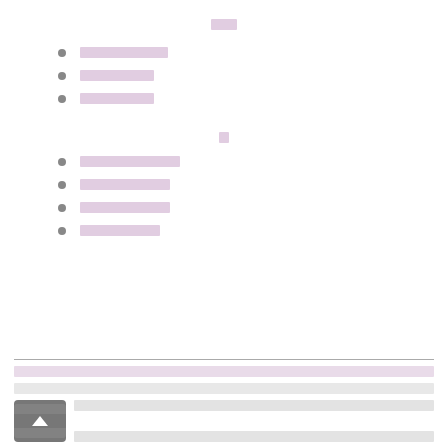██
██████████
█████████
█████████
█
████████████
███████████
███████████
██████████
█████████████████████████████████████████████████████████████████████████████████████████████████████████████████████████████